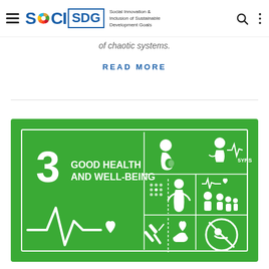SOCI SDG — Social Innovation & Inclusion of Sustainable Development Goals
of chaotic systems.
READ MORE
[Figure (illustration): SDG Goal 3 Good Health and Well-Being tile graphic on green background with white icons: heartbeat line with heart, pregnant woman, child under 5 years health monitor, disease/epidemic icon, family health icon, substance abuse icon, universal health coverage icon.]